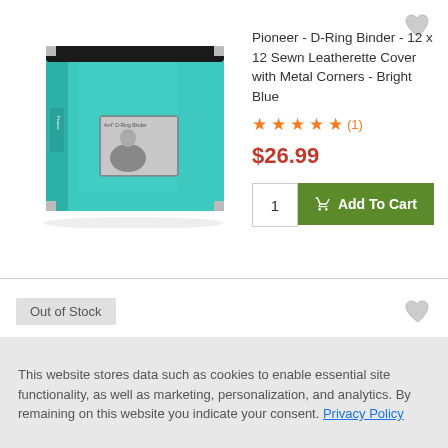[Figure (photo): Bright blue D-ring binder with sewn leatherette cover, metal corners, and a small photo window on the front, shown at a slight angle]
Pioneer - D-Ring Binder - 12 x 12 Sewn Leatherette Cover with Metal Corners - Bright Blue
★★★★★ (1)
$26.99
1  Add To Cart
Out of Stock
This website stores data such as cookies to enable essential site functionality, as well as marketing, personalization, and analytics. By remaining on this website you indicate your consent. Privacy Policy